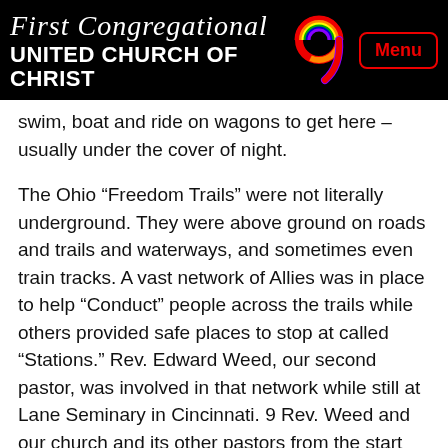First Congregational UNITED CHURCH OF CHRIST
swim, boat and ride on wagons to get here – usually under the cover of night.
The Ohio “Freedom Trails” were not literally underground. They were above ground on roads and trails and waterways, and sometimes even train tracks. A vast network of Allies was in place to help “Conduct” people across the trails while others provided safe places to stop at called “Stations.” Rev. Edward Weed, our second pastor, was involved in that network while still at Lane Seminary in Cincinnati. 9 Rev. Weed and our church and its other pastors from the start were involved in that network right here in Knox County until slavery was outlawed in the 1860s